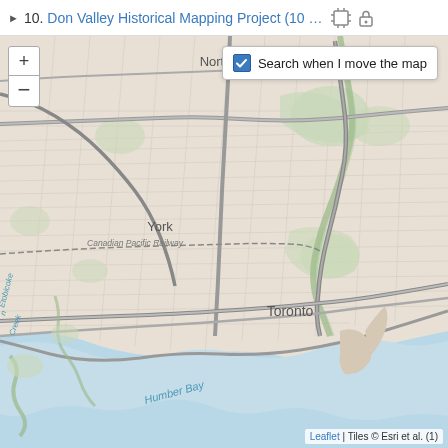10. Don Valley Historical Mapping Project (10 …
[Figure (map): Interactive web map showing Toronto area including North York, York, Toronto, Humber Bay labels, street grid, Canadian Pacific Railway, Don Valley, and Lake Ontario shoreline. Leaflet map with Esri tiles. Zoom controls (+/-) on left. Search checkbox overlay top right reading 'Search when I move the map'.]
Leaflet | Tiles © Esri et al. (1)